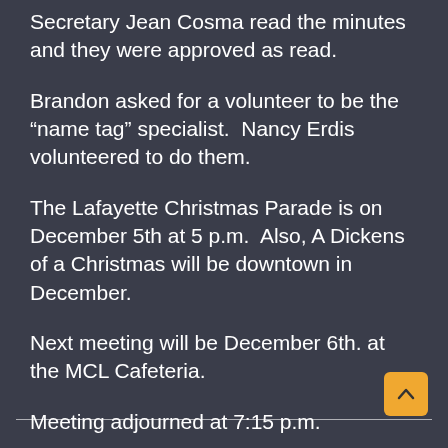Secretary Jean Cosma read the minutes and they were approved as read.
Brandon asked for a volunteer to be the “name tag” specialist.  Nancy Erdis volunteered to do them.
The Lafayette Christmas Parade is on December 5th at 5 p.m.  Also, A Dickens of a Christmas will be downtown in December.
Next meeting will be December 6th. at the MCL Cafeteria.
Meeting adjourned at 7:15 p.m.